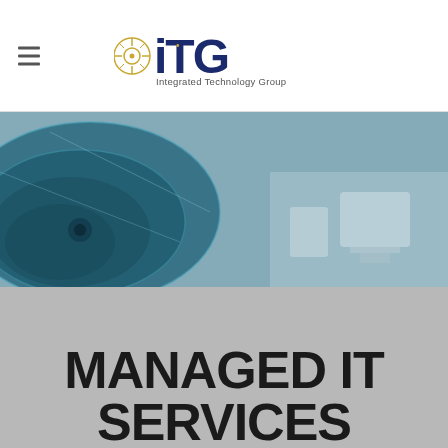iTG Integrated Technology Group
[Figure (photo): Blue teal abstract technology/medical imagery with circular patterns and office/lab equipment in background]
MANAGED IT SERVICES